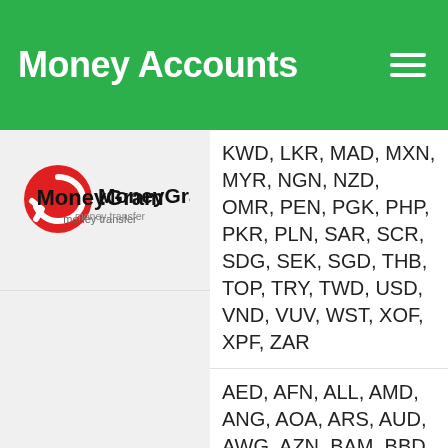Money Accounts
[Figure (logo): MoneyGram money transfer logo — red circular icon with white arrow, black MoneyGram wordmark, grey 'money transfer' tagline]
KWD, LKR, MAD, MXN, MYR, NGN, NZD, OMR, PEN, PGK, PHP, PKR, PLN, SAR, SCR, SDG, SEK, SGD, THB, TOP, TRY, TWD, USD, VND, VUV, WST, XOF, XPF, ZAR
AED, AFN, ALL, AMD, ANG, AOA, ARS, AUD, AWG, AZN, BAM, BBD, BDT, BGN, BHD, BIF, BMD, BND, BOB, BRL, BSD, BTN, BWP, BYN, BYR, BZD, CAD, CDF, CHF, CLP, CNY, COP, CRC, CUC, CUP, CVE, CZK, DJF, DKK, DOP, DZD, EGP, ERN, ETB